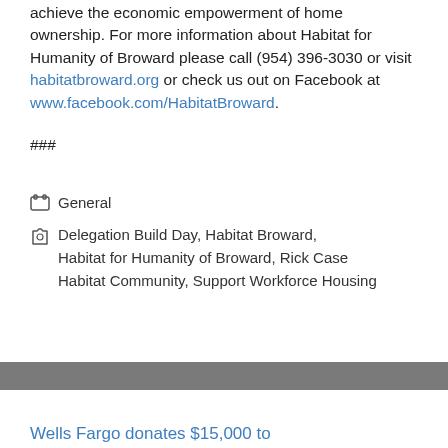achieve the economic empowerment of home ownership. For more information about Habitat for Humanity of Broward please call (954) 396-3030 or visit habitatbroward.org or check us out on Facebook at www.facebook.com/HabitatBroward.
###
General
Delegation Build Day, Habitat Broward, Habitat for Humanity of Broward, Rick Case Habitat Community, Support Workforce Housing
Wells Fargo donates $15,000 to